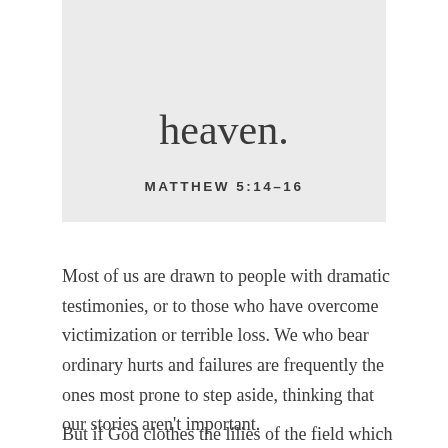heaven.
MATTHEW 5:14-16
Most of us are drawn to people with dramatic testimonies, or to those who have overcome victimization or terrible loss. We who bear ordinary hurts and failures are frequently the ones most prone to step aside, thinking that our stories aren't important.
But if God clothes the lilies of the field which are here